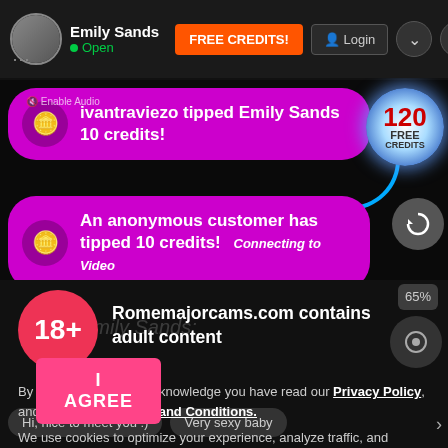Emily Sands • Open
ivantraviezo tipped Emily Sands 10 credits!
An anonymous customer has tipped 10 credits! Connecting to Video
[Figure (screenshot): 120 FREE CREDITS badge - circular glowing badge with blue rays]
Romemajorcams.com contains adult content
By using the site, you acknowledge you have read our Privacy Policy, and agree to our Terms and Conditions.
We use cookies to optimize your experience, analyze traffic, and deliver more personalized service. To learn more, please see our Privacy Policy.
I AGREE